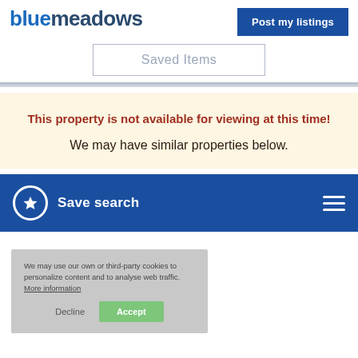bluemeadows
Post my listings
Saved Items
This property is not available for viewing at this time!
We may have similar properties below.
Save search
We may use our own or third-party cookies to personalize content and to analyse web traffic. More information
Decline
Accept